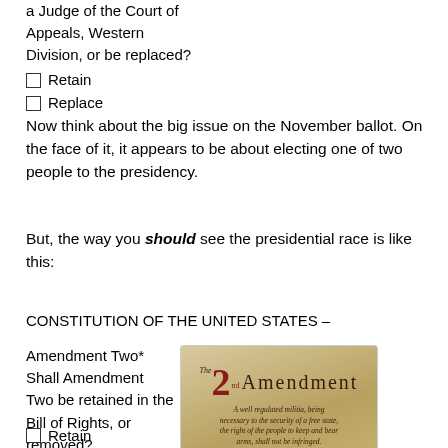a Judge of the Court of Appeals, Western Division, or be replaced?
☐ Retain
☐ Replace
Now think about the big issue on the November ballot. On the face of it, it appears to be about electing one of two people to the presidency.
But, the way you should see the presidential race is like this:
CONSTITUTION OF THE UNITED STATES – Amendment Two*
Shall Amendment Two be retained in the Bill of Rights, or removed?
[Figure (illustration): Image of the 2nd Amendment text on a parchment background. Shows 'The 2nd Amendment' as a title with the text: 'A well regulated militia, being necessary to the security of a free state, the right of the people to keep and bear arms, shall not be infringed.' URL: tenthamendmentcenter.com]
☐ Retain